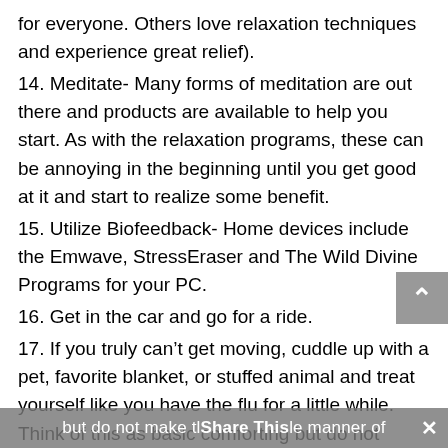for everyone. Others love relaxation techniques and experience great relief).
14. Meditate- Many forms of meditation are out there and products are available to help you start. As with the relaxation programs, these can be annoying in the beginning until you get good at it and start to realize some benefit.
15. Utilize Biofeedback- Home devices include the Emwave, StressEraser and The Wild Divine Programs for your PC.
16. Get in the car and go for a ride.
17. If you truly can’t get moving, cuddle up with a pet, favorite blanket, or stuffed animal and treat yourself like you have the flu for a little while. Think of this as basic comforting but do not make tl…le manner of